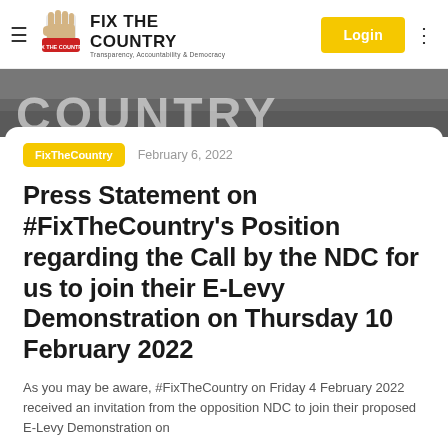Fix The Country — Transparency, Accountability & Democracy
[Figure (photo): Hero banner showing a crowd with large text COUNTRY visible]
FixTheCountry   February 6, 2022
Press Statement on #FixTheCountry's Position regarding the Call by the NDC for us to join their E-Levy Demonstration on Thursday 10 February 2022
As you may be aware, #FixTheCountry on Friday 4 February 2022 received an invitation from the opposition NDC to join their proposed E-Levy Demonstration on